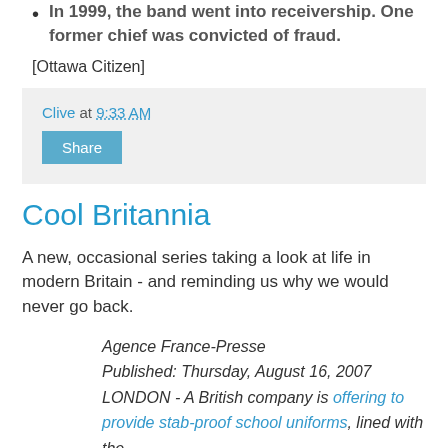In 1999, the band went into receivership. One former chief was convicted of fraud.
[Ottawa Citizen]
Clive at 9:33 AM
Share
Cool Britannia
A new, occasional series taking a look at life in modern Britain - and reminding us why we would never go back.
Agence France-Presse
Published: Thursday, August 16, 2007
LONDON - A British company is offering to provide stab-proof school uniforms, lined with the